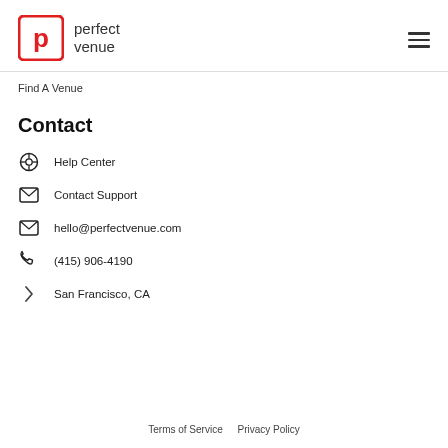perfect venue
Find A Venue
Contact
Help Center
Contact Support
hello@perfectvenue.com
(415) 906-4190
San Francisco, CA
Terms of Service   Privacy Policy